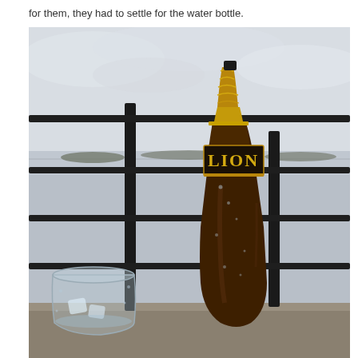for them, they had to settle for the water bottle.
[Figure (photo): A Lion beer bottle with a gold foil neck and dark label reading 'LION', placed on a ledge overlooking a body of water with a metal railing in the background. A glass with ice is visible in the lower left. Overcast sky visible above the water.]